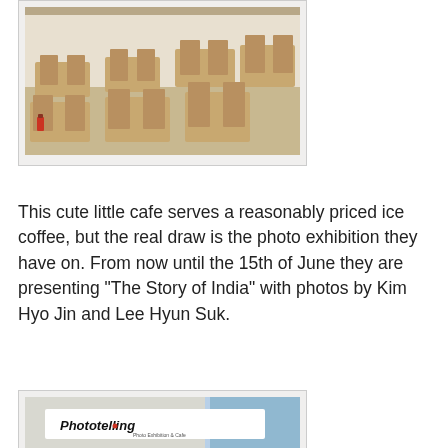[Figure (photo): Interior of a cafe with wooden tables and chairs, light-colored wood furniture arranged in rows]
This cute little cafe serves a reasonably priced ice coffee, but the real draw is the photo exhibition they have on. From now until the 15th of June they are presenting "The Story of India" with photos by Kim Hyo Jin and Lee Hyun Suk.
[Figure (photo): Exterior sign of 'Phototelling - Photo Exhibition & Cafe' on a building facade with glass windows and brick detail at the bottom]